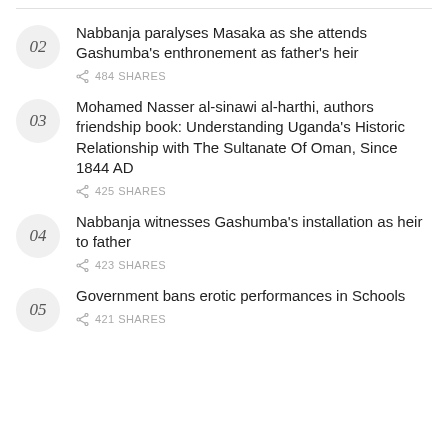02 Nabbanja paralyses Masaka as she attends Gashumba's enthronement as father's heir — 484 SHARES
03 Mohamed Nasser al-sinawi al-harthi, authors friendship book: Understanding Uganda's Historic Relationship with The Sultanate Of Oman, Since 1844 AD — 425 SHARES
04 Nabbanja witnesses Gashumba's installation as heir to father — 423 SHARES
05 Government bans erotic performances in Schools — 421 SHARES